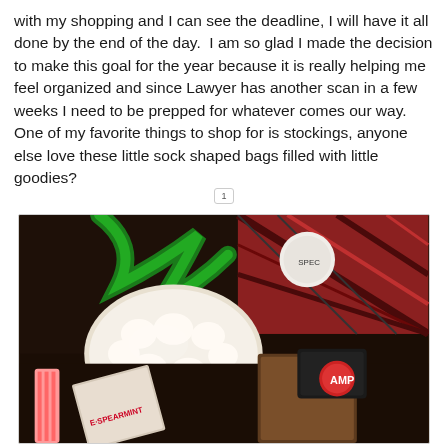with my shopping and I can see the deadline, I will have it all done by the end of the day. I am so glad I made the decision to make this goal for the year because it is really helping me feel organized and since Lawyer has another scan in a few weeks I need to be prepped for whatever comes our way. One of my favorite things to shop for is stockings, anyone else love these little sock shaped bags filled with little goodies?
1
[Figure (photo): A close-up photo of Christmas stocking items including a fluffy white stocking with a green satin ribbon, candy/gum packages (one labeled SPEARMINT), a pink comb, dark socks with a round red logo, and plaid fabric in the background.]